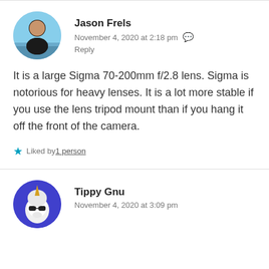Jason Frels
November 4, 2020 at 2:18 pm
Reply
It is a large Sigma 70-200mm f/2.8 lens. Sigma is notorious for heavy lenses. It is a lot more stable if you use the lens tripod mount than if you hang it off the front of the camera.
Liked by 1 person
Tippy Gnu
November 4, 2020 at 3:09 pm